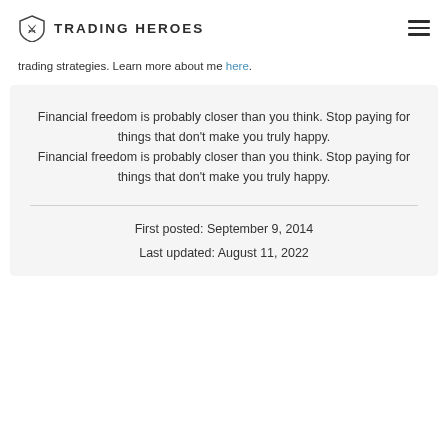TRADING HEROES
trading strategies. Learn more about me here.
Financial freedom is probably closer than you think. Stop paying for things that don't make you truly happy.
Financial freedom is probably closer than you think. Stop paying for things that don't make you truly happy.
First posted: September 9, 2014
Last updated: August 11, 2022